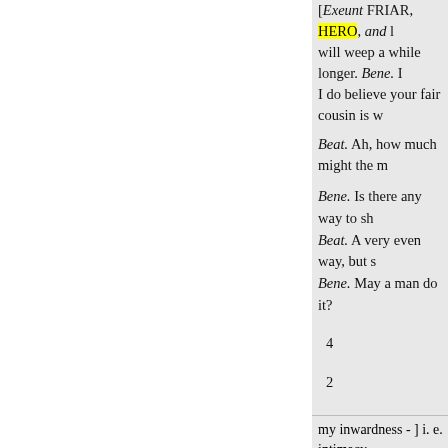[Exeunt FRIAR, HERO, and ... will weep a while longer. Bene. I do believe your fair cousin is w...
Beat. Ah, how much might the m...
Bene. Is there any way to sh... Beat. A very even way, but ... Bene. May a man do it?
4
2
my inwardness - ] i. e. intimacy. ... inward of his." Again, in King R...
" Who is most inward with the... our author's observations upon li... relief, close with every scheme, a... is glad to repose his trust in any ...
4 Lady Beatrice, &c.] The poe... here engages her lover to reveng... considering the character of Beat... could never have been easily o...